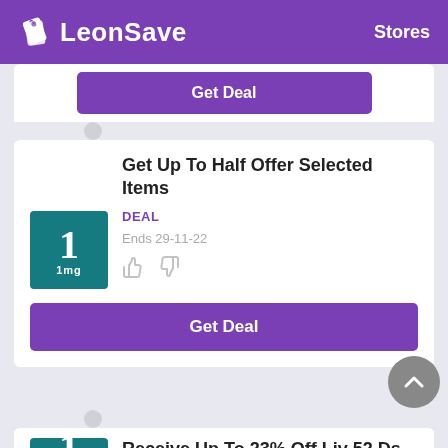LeonSave   Stores
[Figure (logo): LeonSave logo with price tag icon on purple header bar, 'Stores' navigation link on right]
Get Deal (button, partial card top)
Get Up To Half Offer Selected Items
DEAL
Ends 29-11-22
Get Deal
Receive Up To 23% Off Liv 52 Ds At 1mg.com
DEAL
Ends 30-9-22